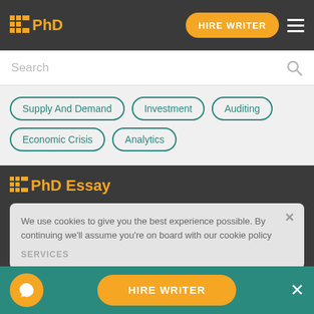PhD — HIRE WRITER
Search
Supply And Demand
Investment
Auditing
Economic Crisis
Analytics
PhD Essay
We use cookies to give you the best experience possible. By continuing we'll assume you're on board with our cookie policy
SERVICES
HIRE WRITER